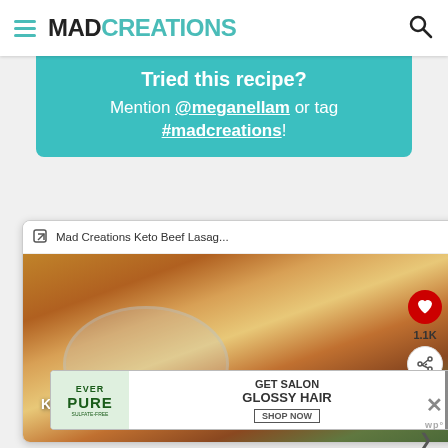MAD CREATIONS
Tried this recipe? Mention @meganellam or tag #madcreations!
[Figure (screenshot): Pinterest pin card showing Mad Creations Keto Beef Lasagna with a photo of lasagna on a plate. Header shows 'Mad Creations Keto Beef Lasag...' with a close button. Image overlaid with text 'KETO BEEF LASAGNA'. Right sidebar shows heart/like button with 1.1K count, share button, and avatar.]
[Figure (photo): Advertisement banner for EverPure sulfate-free hair product with text 'GET SALON GLOSSY HAIR SHOP NOW']